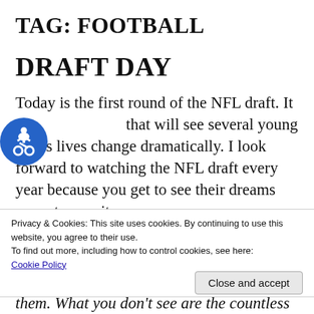TAG: FOOTBALL
DRAFT DAY
Today is the first round of the NFL draft. It is a [day] that will see several young men's lives change dramatically. I look forward to watching the NFL draft every year because you get to see their dreams come true as it happens. You see the emotion on the...
Privacy & Cookies: This site uses cookies. By continuing to use this website, you agree to their use.
To find out more, including how to control cookies, see here:
Cookie Policy
Close and accept
them. What you don't see are the countless